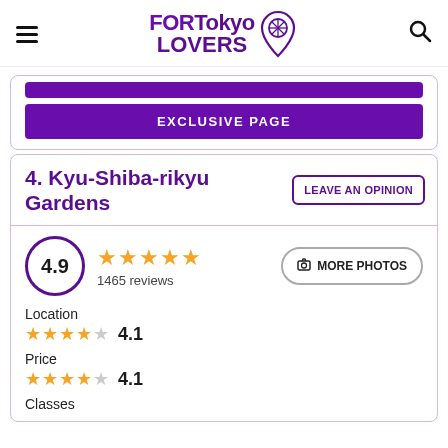FORTokyo LOVERS
EXCLUSIVE PAGE
4. Kyu-Shiba-rikyu Gardens
LEAVE AN OPINION
4.9 ★★★★★ 1465 reviews
MORE PHOTOS
Location
★★★★☆ 4.1
Price
★★★★☆ 4.1
Classes